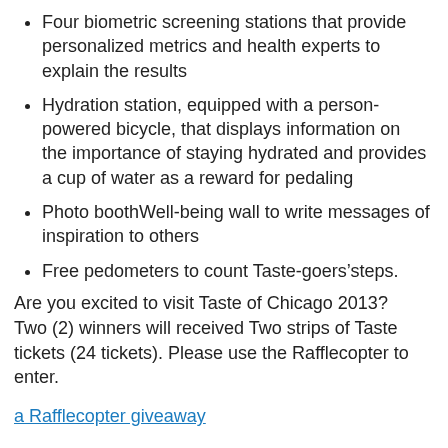Four biometric screening stations that provide personalized metrics and health experts to explain the results
Hydration station, equipped with a person-powered bicycle, that displays information on the importance of staying hydrated and provides a cup of water as a reward for pedaling
Photo boothWell-being wall to write messages of inspiration to others
Free pedometers to count Taste-goers’steps.
Are you excited to visit Taste of Chicago 2013?  Two (2) winners will received Two strips of Taste tickets (24 tickets). Please use the Rafflecopter to enter.
a Rafflecopter giveaway
Disclosure: Humana Healthier Choices information and the